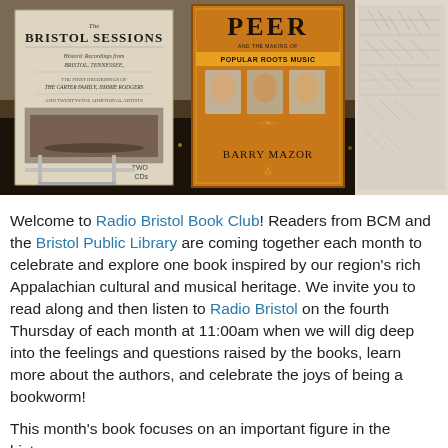[Figure (photo): Photo of two books displayed on a counter: 'The Bristol Sessions - Historic Recordings from Bristol, Tennessee' (a CD set) on the left in a metal stand, and 'PEER and the Making of Popular Roots Music' by Barry Mazor (orange book) in the center. A partial illustrated image is visible on the right.]
Welcome to Radio Bristol Book Club! Readers from BCM and the Bristol Public Library are coming together each month to celebrate and explore one book inspired by our region's rich Appalachian cultural and musical heritage. We invite you to read along and then listen to Radio Bristol on the fourth Thursday of each month at 11:00am when we will dig deep into the feelings and questions raised by the books, learn more about the authors, and celebrate the joys of being a bookworm!
This month's book focuses on an important figure in the history